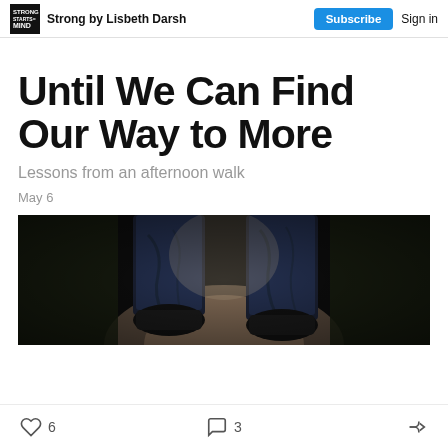Strong by Lisbeth Darsh | Subscribe | Sign in
Until We Can Find Our Way to More
Lessons from an afternoon walk
May 6
[Figure (photo): Close-up photograph of a person's feet and lower legs walking on a path, wearing dark jeans and shoes, outdoors with blurred background]
6 likes · 3 comments · share